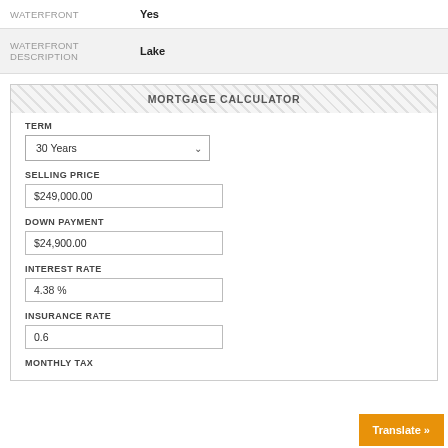| Field | Value |
| --- | --- |
| WATERFRONT | Yes |
| WATERFRONT DESCRIPTION | Lake |
MORTGAGE CALCULATOR
TERM
30 Years
SELLING PRICE
$249,000.00
DOWN PAYMENT
$24,900.00
INTEREST RATE
4.38 %
INSURANCE RATE
0.6
MONTHLY TAX